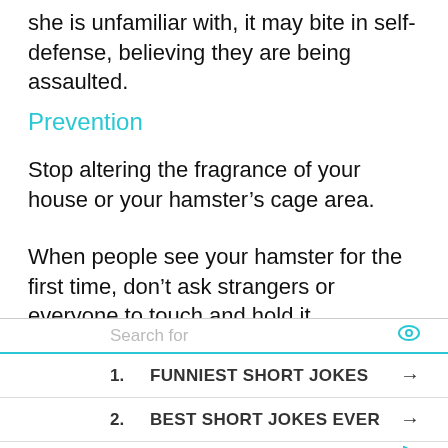she is unfamiliar with, it may bite in self-defense, believing they are being assaulted.
Prevention
Stop altering the fragrance of your house or your hamster’s cage area.
When people see your hamster for the first time, don’t ask strangers or everyone to touch and hold it.
Instead, let them observe you handling your pet from a distance to avoid smell transfer.
Search for
1. FUNNIEST SHORT JOKES
2. BEST SHORT JOKES EVER